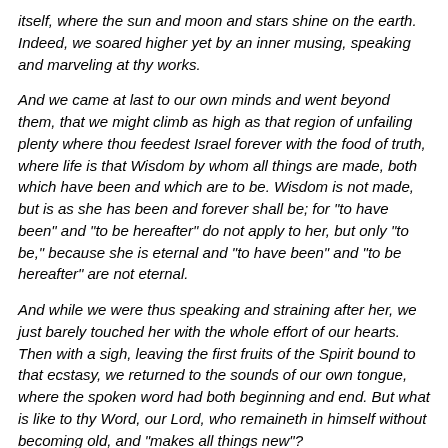itself, where the sun and moon and stars shine on the earth. Indeed, we soared higher yet by an inner musing, speaking and marveling at thy works.
And we came at last to our own minds and went beyond them, that we might climb as high as that region of unfailing plenty where thou feedest Israel forever with the food of truth, where life is that Wisdom by whom all things are made, both which have been and which are to be. Wisdom is not made, but is as she has been and forever shall be; for "to have been" and "to be hereafter" do not apply to her, but only "to be," because she is eternal and "to have been" and "to be hereafter" are not eternal.
And while we were thus speaking and straining after her, we just barely touched her with the whole effort of our hearts. Then with a sigh, leaving the first fruits of the Spirit bound to that ecstasy, we returned to the sounds of our own tongue, where the spoken word had both beginning and end. But what is like to thy Word, our Lord, who remaineth in himself without becoming old, and "makes all things new"?
According to this site, the Pre-Raphaelite Brotherhood took some interest in Scheffer's works: